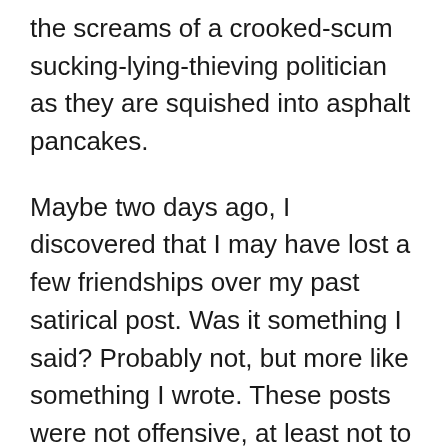the screams of a crooked-scum sucking-lying-thieving politician as they are squished into asphalt pancakes.
Maybe two days ago, I discovered that I may have lost a few friendships over my past satirical post. Was it something I said? Probably not, but more like something I wrote. These posts were not offensive, at least not to me, but meant to be informative and jovial; light-hearted little digs covered in glitter and dancing unicorns. I didn’t know these friends were like…